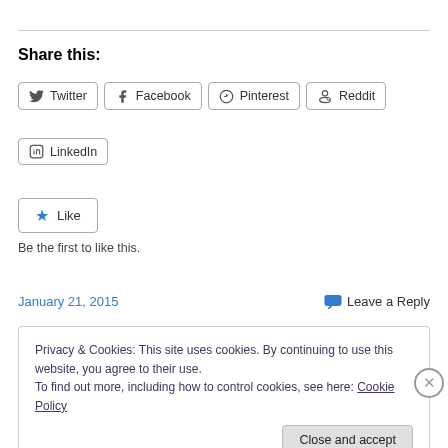Share this:
Twitter  Facebook  Pinterest  Reddit  LinkedIn
Like
Be the first to like this.
January 21, 2015    Leave a Reply
Privacy & Cookies: This site uses cookies. By continuing to use this website, you agree to their use.
To find out more, including how to control cookies, see here: Cookie Policy
Close and accept